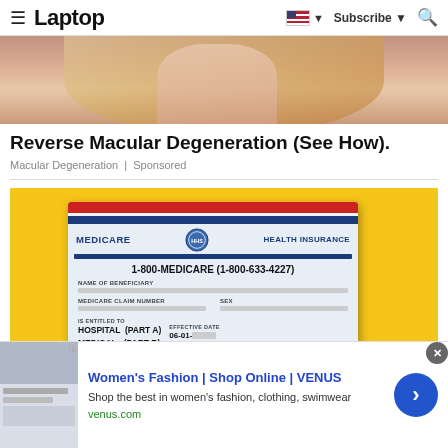≡ Laptop  🇺🇸 ▼  Subscribe ▼  🔍
[Figure (photo): Close-up of a blonde woman holding a phone near her face, partial face visible]
Reverse Macular Degeneration (See How).
Macular Degeneration | Sponsored
[Figure (photo): Medicare health insurance card on yellow background showing: 1-800-MEDICARE (1-800-633-4227), NAME OF BENEFICIARY (blurred), MEDICARE CLAIM NUMBER (blurred), IS ENTITLED TO HOSPITAL (PART A) 06-01- [blurred], MEDICAL (PART B) 06-01- [blurred], EFFECTIVE DATE]
[Figure (screenshot): Bottom advertisement banner for VENUS Women's Fashion showing thumbnail image of women's clothing website, title 'Women's Fashion | Shop Online | VENUS', description 'Shop the best in women's fashion, clothing, swimwear', URL venus.com, and a blue circular arrow button]